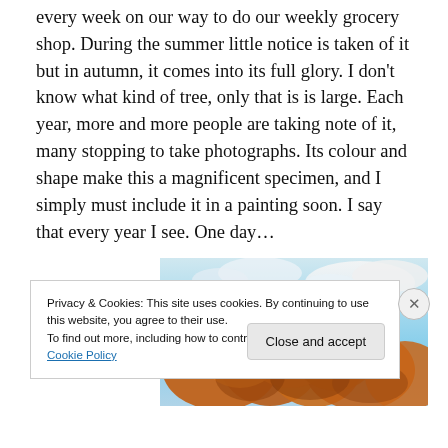every week on our way to do our weekly grocery shop. During the summer little notice is taken of it but in autumn, it comes into its full glory. I don't know what kind of tree, only that is is large. Each year, more and more people are taking note of it, many stopping to take photographs. Its colour and shape make this a magnificent specimen, and I simply must include it in a painting soon. I say that every year I see. One day…
[Figure (photo): Photograph of an autumn tree with orange/brown foliage against a blue and white cloudy sky]
Privacy & Cookies: This site uses cookies. By continuing to use this website, you agree to their use.
To find out more, including how to control cookies, see here: Cookie Policy